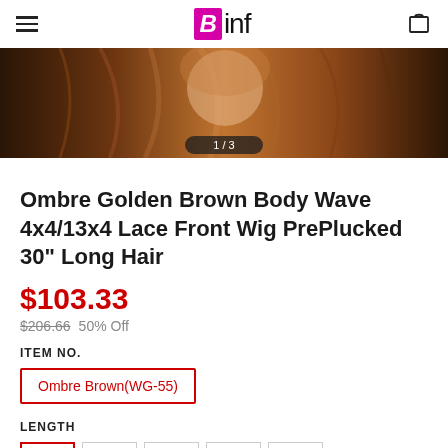Binf
[Figure (photo): Product photo showing a woman with ombre golden brown body wave hair wig, image counter showing 1/3]
Ombre Golden Brown Body Wave 4x4/13x4 Lace Front Wig PrePlucked 30" Long Hair
$103.33
$206.66  50% Off
ITEM NO.
Ombre Brown(WG-55)
LENGTH